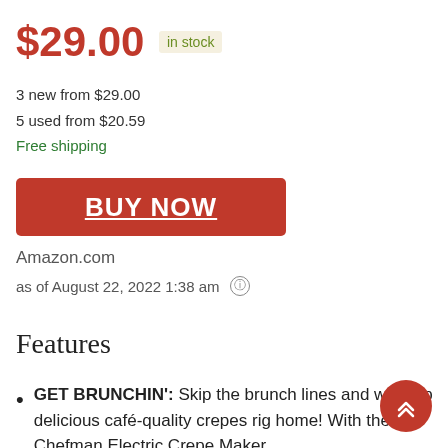$29.00 in stock
3 new from $29.00
5 used from $20.59
Free shipping
BUY NOW
Amazon.com
as of August 22, 2022 1:38 am
Features
GET BRUNCHIN': Skip the brunch lines and whip up delicious café-quality crepes rig home! With the Chefman Electric Crepe Maker